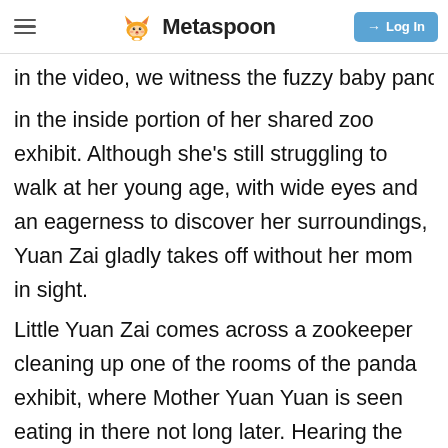Metaspoon | Log In
In the video, we witness the fuzzy baby panda in the inside portion of her shared zoo exhibit. Although she's still struggling to walk at her young age, with wide eyes and an eagerness to discover her surroundings, Yuan Zai gladly takes off without her mom in sight.
Little Yuan Zai comes across a zookeeper cleaning up one of the rooms of the panda exhibit, where Mother Yuan Yuan is seen eating in there not long later. Hearing the